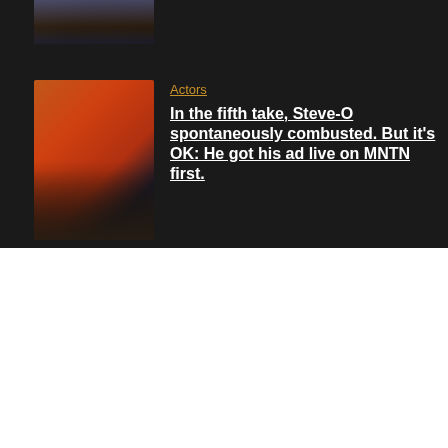[Figure (photo): Partial thumbnail image at top of dark background section showing a person with a guitar]
Actors
In the fifth take, Steve-O spontaneously combusted. But it's OK: He got his ad live on MNTN first.
[Figure (photo): Thumbnail image card showing Steve-O with flames and two men sitting]
We use cookies on our website to give you the most relevant experience by remembering your preferences and repeat visits. By clicking "Accept All", you consent to the use of ALL the cookies. However, you may visit "Cookie Settings" to provide a controlled consent.
Cookie Settings
Accept All